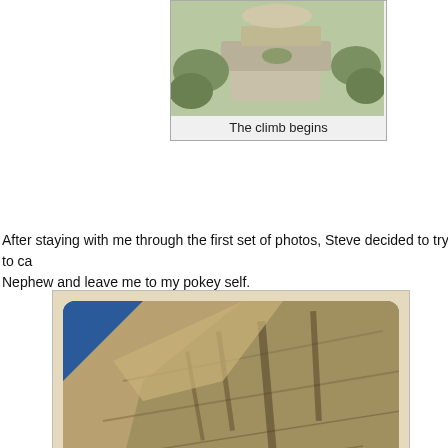[Figure (photo): Photo of a rocky path with grasses at the start of a climb, partially cropped at top]
The climb begins
After staying with me through the first set of photos, Steve decided to try to ca... Nephew and leave me to my pokey self.
[Figure (photo): Large photo of a steep rocky cliff face with blue sky in the upper left and desert scrub vegetation in the foreground]